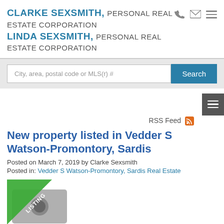CLARKE SEXSMITH, PERSONAL REAL ESTATE CORPORATION LINDA SEXSMITH, PERSONAL REAL ESTATE CORPORATION
City, area, postal code or MLS(r) #
New property listed in Vedder S Watson-Promontory, Sardis
Posted on March 7, 2019 by Clarke Sexsmith
Posted in: Vedder S Watson-Promontory, Sardis Real Estate
[Figure (other): New listing badge with green ribbon over a property/camera image]